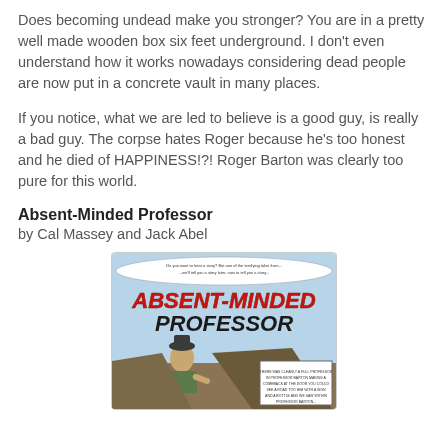Does becoming undead make you stronger? You are in a pretty well made wooden box six feet underground. I don't even understand how it works nowadays considering dead people are now put in a concrete vault in many places.
If you notice, what we are led to believe is a good guy, is really a bad guy. The corpse hates Roger because he's too honest and he died of HAPPINESS!?! Roger Barton was clearly too pure for this world.
Absent-Minded Professor
by Cal Massey and Jack Abel
[Figure (illustration): Comic book panel showing the title 'ABSENT-MINDED PROFESSOR' in large red and black letters with a speech bubble at the top and a drawn character below holding something, with a small inset panel in the bottom right corner.]